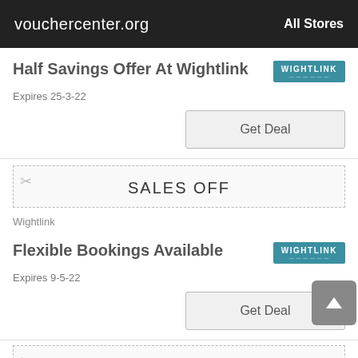vouchercenter.org   All Stores
Half Savings Offer At Wightlink
Expires 25-3-22
Get Deal
SALES OFF
Wightlink
Flexible Bookings Available
Expires 9-5-22
Get Deal
25% OFF